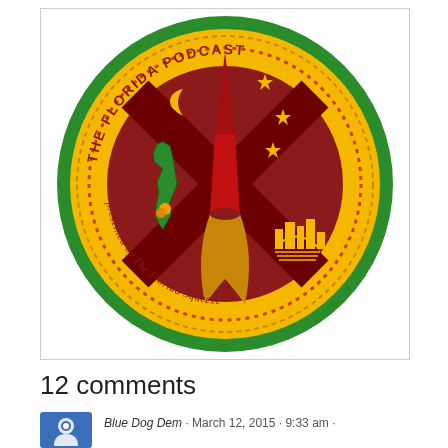[Figure (logo): Circular logo for 'The Florida Podcast presented by The Florida Squeeze'. Green outer ring, gold/yellow inner ring with dotted border, dark red/maroon center with an X cross pattern and rocket shape. Features a crescent moon, stars, Florida state map outline in green with orange, and a city skyline with sunset. Text around the ring reads 'THE FLORIDA PODCAST' at top and 'presented by The Florida Squeeze' at bottom.]
12 comments
Blue Dog Dem · March 12, 2015 · 9:33 am ·